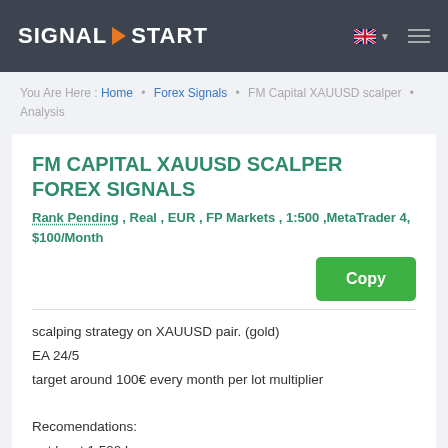SIGNAL START
You Are Here : Home • Forex Signals • FM Capital XAUUSD scalper • Analysis
FM CAPITAL XAUUSD SCALPER FOREX SIGNALS
Rank Pending , Real , EUR , FP Markets , 1:500 ,MetaTrader 4, $100/Month
scalping strategy on XAUUSD pair. (gold)
EA 24/5
target around 100€ every month per lot multiplier

Recomendations:
- at least 1:500 leverage
- at least 500€ balance